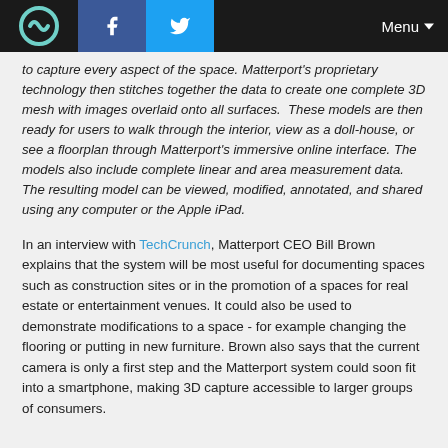[logo] [Facebook] [Twitter] Menu
to capture every aspect of the space. Matterport's proprietary technology then stitches together the data to create one complete 3D mesh with images overlaid onto all surfaces.  These models are then ready for users to walk through the interior, view as a doll-house, or see a floorplan through Matterport's immersive online interface. The models also include complete linear and area measurement data. The resulting model can be viewed, modified, annotated, and shared using any computer or the Apple iPad.
In an interview with TechCrunch, Matterport CEO Bill Brown explains that the system will be most useful for documenting spaces such as construction sites or in the promotion of a spaces for real estate or entertainment venues. It could also be used to demonstrate modifications to a space - for example changing the flooring or putting in new furniture. Brown also says that the current camera is only a first step and the Matterport system could soon fit into a smartphone, making 3D capture accessible to larger groups of consumers.